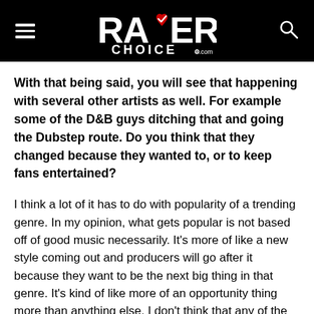RAVERS CHOICE .com
With that being said, you will see that happening with several other artists as well. For example some of the D&B guys ditching that and going the Dubstep route. Do you think that they changed because they wanted to, or to keep fans entertained?
I think a lot of it has to do with popularity of a trending genre. In my opinion, what gets popular is not based off of good music necessarily. It's more of like a new style coming out and producers will go after it because they want to be the next big thing in that genre. It's kind of like more of an opportunity thing more than anything else. I don't think that any of the established genres at this point will ever go away. I don't think that they will lose much scene either. If you remember, everyone was criticizing the dubstep/electro/house "thing" some years ago and...